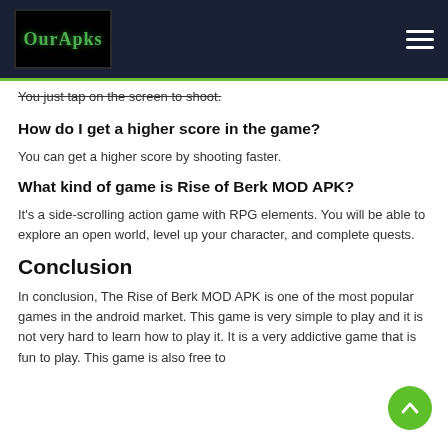OurApks [logo] | hamburger menu
You just tap on the screen to shoot.
How do I get a higher score in the game?
You can get a higher score by shooting faster.
What kind of game is Rise of Berk MOD APK?
It’s a side-scrolling action game with RPG elements. You will be able to explore an open world, level up your character, and complete quests.
Conclusion
In conclusion, The Rise of Berk MOD APK is one of the most popular games in the android market. This game is very simple to play and it is not very hard to learn how to play it. It is a very addictive game that is fun to play. This game is also free to